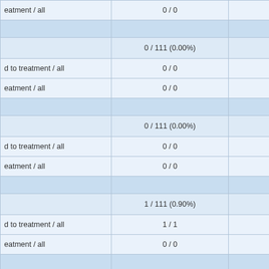|  |  |  |
| --- | --- | --- |
| eatment / all | 0 / 0 |  |
|  |  |  |
|  | 0 / 111 (0.00%) |  |
| d to treatment / all | 0 / 0 |  |
| eatment / all | 0 / 0 |  |
|  |  |  |
|  | 0 / 111 (0.00%) |  |
| d to treatment / all | 0 / 0 |  |
| eatment / all | 0 / 0 |  |
|  |  |  |
|  | 1 / 111 (0.90%) |  |
| d to treatment / all | 1 / 1 |  |
| eatment / all | 0 / 0 |  |
|  |  |  |
|  | 0 / 111 (0.00%) |  |
| d to treatment / all | 0 / 0 |  |
| eatment / all | 0 / 0 |  |
|  |  |  |
|  | 0 / 111 (0.00%) |  |
| d to treatment / all | 0 / 0 |  |